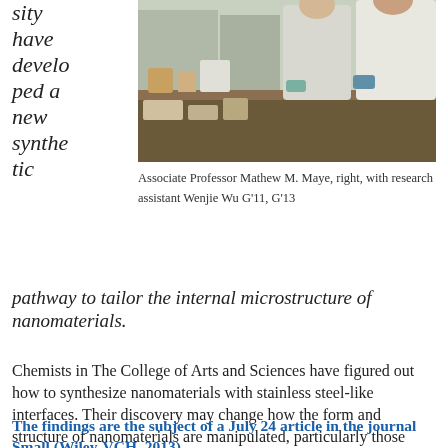sity have developed a new synthetic pathway to tailor the internal microstructure of nanomaterials.
[Figure (photo): Associate Professor Mathew M. Maye, right, with research assistant Wenjie Wu in a chemistry laboratory]
Associate Professor Mathew M. Maye, right, with research assistant Wenjie Wu G'11, G'13
pathway to tailor the internal microstructure of nanomaterials.
Chemists in The College of Arts and Sciences have figured out how to synthesize nanomaterials with stainless steel-like interfaces. Their discovery may change how the form and structure of nanomaterials are manipulated, particularly those used for gas storage, heterogeneous catalysis and lithium-ion batteries.
The findings are the subject of a July 24 article in the journal Small (Wiley-VCH, 2013).